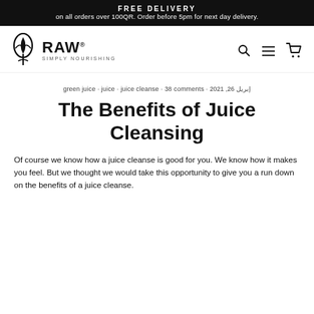FREE DELIVERY
on all orders over 100QR. Order before 5pm for next day delivery.
[Figure (logo): RAW Simply Nourishing logo with leaf/droplet icon and navigation icons (search, menu, cart)]
green juice · juice · juice cleanse · 38 comments · إبريل 26, 2021
The Benefits of Juice Cleansing
Of course we know how a juice cleanse is good for you. We know how it makes you feel. But we thought we would take this opportunity to give you a run down on the benefits of a juice cleanse.